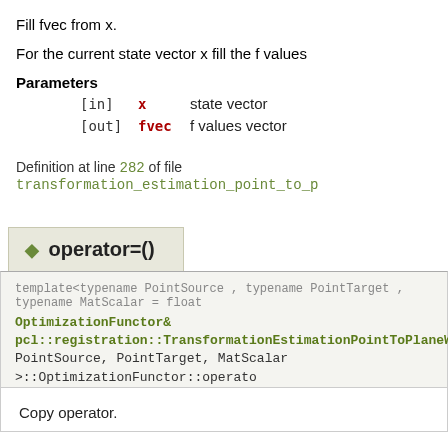Fill fvec from x.
For the current state vector x fill the f values
Parameters
[in]  x    state vector
[out] fvec f values vector
Definition at line 282 of file transformation_estimation_point_to_p
◆ operator=()
template<typename PointSource , typename PointTarget , typename MatScalar = float
OptimizationFunctor& pcl::registration::TransformationEstimationPointToPlaneWeighte PointSource, PointTarget, MatScalar >::OptimizationFunctor::operato
Copy operator.